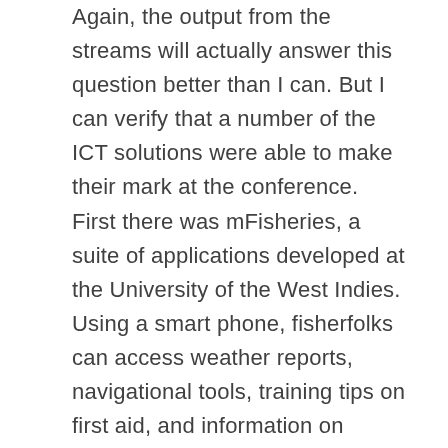Again, the output from the streams will actually answer this question better than I can. But I can verify that a number of the ICT solutions were able to make their mark at the conference. First there was mFisheries, a suite of applications developed at the University of the West Indies. Using a smart phone, fisherfolks can access weather reports, navigational tools, training tips on first aid, and information on emergency boat repairs. They can also find out while at sea what the fish prices are in different markets. Second, there was a well-received agricultural input e-verification system. The system allows farmers to use SMS to verify the authenticity of agro-inputs before using them. Users submit SMS queries to a local short code, which delivers a reassuring authentication message within a few seconds. This lets the consumer check if the product is genuine.